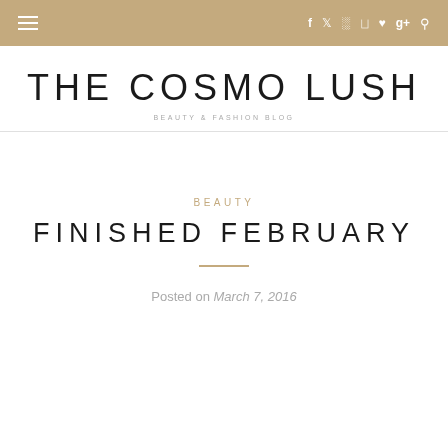Navigation bar with hamburger menu and social icons (Facebook, Twitter, Instagram, Pinterest, Heart, Google+, Search)
THE COSMO LUSH
BEAUTY & FASHION BLOG
BEAUTY
FINISHED FEBRUARY
Posted on March 7, 2016